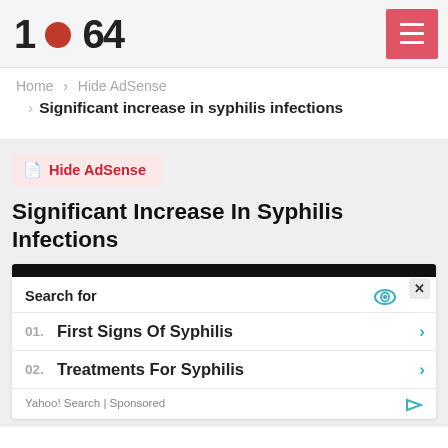[Figure (screenshot): Website header with logo showing '1 [red circle] 64', menu button in red on the right]
Home > Hide AdSense > Significant increase in syphilis infections
[Figure (screenshot): Hide AdSense button with bookmark icon, article title 'Significant Increase In Syphilis Infections', and an ad widget showing Yahoo Search sponsored results for First Signs Of Syphilis and Treatments For Syphilis]
Significant Increase In Syphilis Infections
Search for
01. First Signs Of Syphilis
02. Treatments For Syphilis
Yahoo! Search | Sponsored